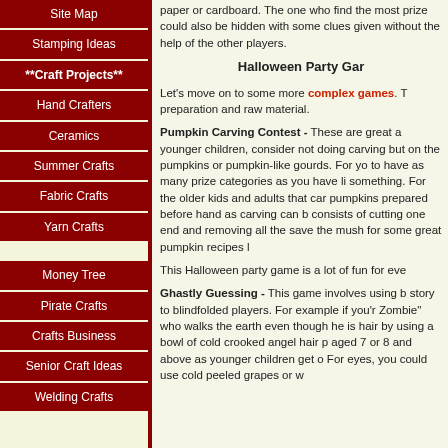Site Map
Stamping Ideas
**Craft Projects**
Hand Crafters
Ceramics
Summer Crafts
Fabric Crafts
Yarn Crafts
Money Tree
Pirate Crafts
Crafts Business
Senior Craft Ideas
Welding Crafts
paper or cardboard. The one who find the most prize could also be hidden with some clues given without the help of the other players.
Halloween Party Gar
Let's move on to some more complex games. T preparation and raw material.
Pumpkin Carving Contest - These are great a younger children, consider not doing carving but on the pumpkins or pumpkin-like gourds. For yo to have as many prize categories as you have li something. For the older kids and adults that car pumpkins prepared before hand as carving can b consists of cutting one end and removing all the save the mush for some great pumpkin recipes l
This Halloween party game is a lot of fun for eve
Ghastly Guessing - This game involves using b story to blindfolded players. For example if you'r Zombie" who walks the earth even though he is hair by using a bowl of cold crooked angel hair p aged 7 or 8 and above as younger children get o For eyes, you could use cold peeled grapes or w